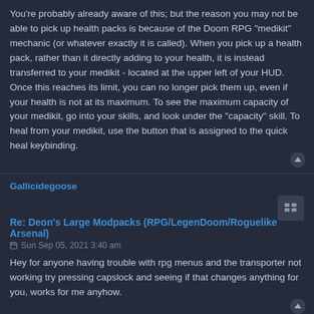You're probably already aware of this; but the reason you may not be able to pick up health packs is because of the Doom RPG "medikit" mechanic (or whatever exactly it is called). When you pick up a health pack, rather than it directly adding to your health, it is instead transferred to your medikit - located at the upper left of your HUD. Once this reaches its limit, you can no longer pick them up, even if your health is not at its maximum. To see the maximum capacity of your medikit, go into your skills, and look under the "capacity" skill. To heal from your medikit, use the button that is assigned to the quick heal keybinding.
Gallicidegoose
Re: Deon's Large Modpacks (RPG/LegenDoom/Roguelike Arsenal)
Sun Sep 05, 2021 3:40 am
Hey for anyone having trouble with rpg menus and the transporter not working try pressing capslock and seeing if that changes anything for you, works for me anyhow.
Post Reply
68 posts  1  2  3  4  5